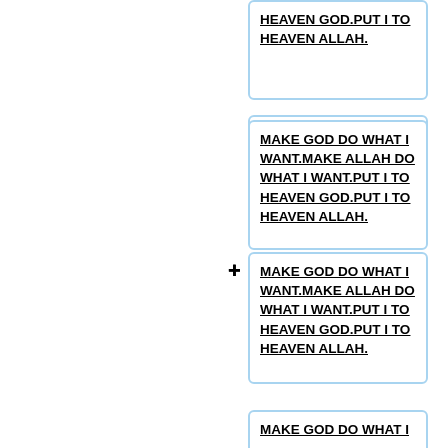HEAVEN GOD.PUT I TO HEAVEN ALLAH.
MAKE GOD DO WHAT I WANT.MAKE ALLAH DO WHAT I WANT.PUT I TO HEAVEN GOD.PUT I TO HEAVEN ALLAH.
MAKE GOD DO WHAT I WANT.MAKE ALLAH DO WHAT I WANT.PUT I TO HEAVEN GOD.PUT I TO HEAVEN ALLAH.
MAKE GOD DO WHAT I WANT.MAKE ALLAH DO WHAT I WANT.PUT I TO HEAVEN GOD.PUT I TO HEAVEN ALLAH.
MAKE GOD DO WHAT I